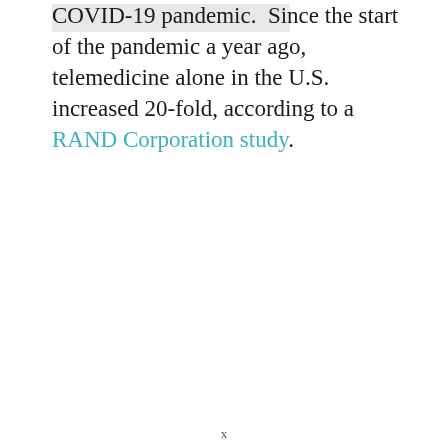[Figure (other): Gray placeholder image block in upper left area]
COVID-19 pandemic. Since the start of the pandemic a year ago, telemedicine alone in the U.S. increased 20-fold, according to a RAND Corporation study.